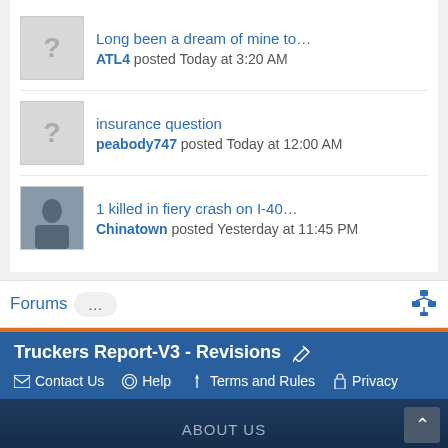Long been a dream of mine to... ATL4 posted Today at 3:20 AM
insurance question peabody747 posted Today at 12:00 AM
1 killed in fiery crash on I-40... Chinatown posted Yesterday at 11:45 PM
Forums ...
Truckers Report-V3 - Revisions
Contact Us  Help  Terms and Rules  Privacy
ABOUT US  TRUCKER NEWS  LIBRARY